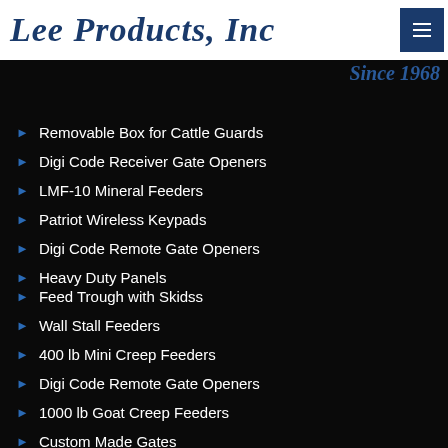Lee Products, Inc — Since 1968
Removable Box for Cattle Guards
Digi Code Receiver Gate Openers
LMF-10 Mineral Feeders
Patriot Wireless Keypads
Digi Code Remote Gate Openers
Heavy Duty Panels
Feed Trough with Skidss
Wall Stall Feeders
400 lb Mini Creep Feeders
Digi Code Remote Gate Openers
1000 lb Goat Creep Feeders
Custom Made Gates